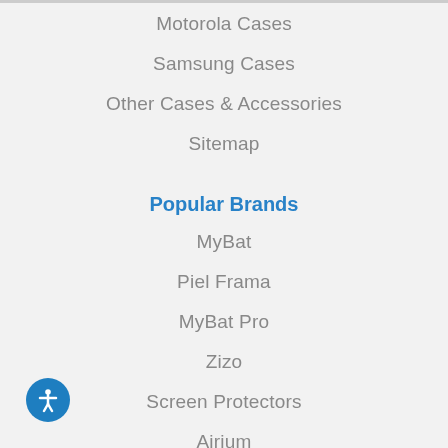Motorola Cases
Samsung Cases
Other Cases & Accessories
Sitemap
Popular Brands
MyBat
Piel Frama
MyBat Pro
Zizo
Screen Protectors
Airium
Asmyna
Ben Jorvich
OtterBox